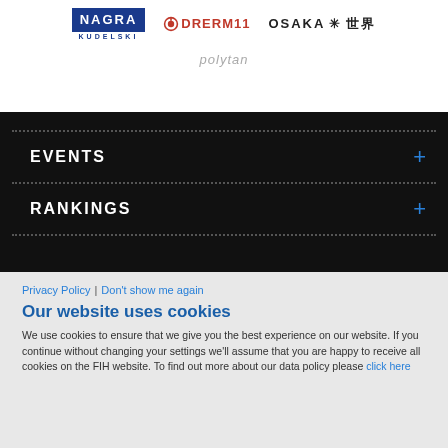[Figure (logo): Nagra Kudelski logo - blue rectangle with NAGRA text and KUDELSKI text below]
[Figure (logo): Dream11 logo with red microphone icon and DRERM11 text]
[Figure (logo): OSAKA with asterisk and Japanese characters 世界]
[Figure (logo): polytan logo in grey italic text]
EVENTS
RANKINGS
Privacy Policy | Don't show me again
Our website uses cookies
We use cookies to ensure that we give you the best experience on our website. If you continue without changing your settings we'll assume that you are happy to receive all cookies on the FIH website. To find out more about our data policy please click here